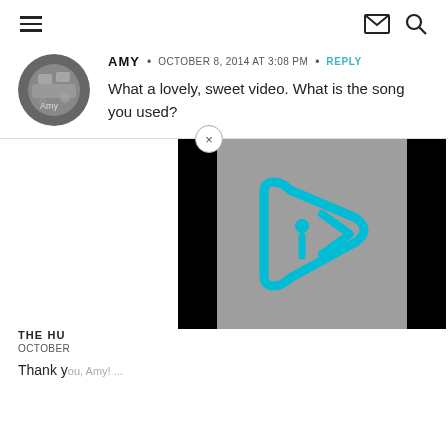navigation header with hamburger menu, mail icon, search icon
AMY • OCTOBER 8, 2014 AT 3:08 PM • REPLY
What a lovely, sweet video. What is the song you used?
[Figure (screenshot): Video popup overlay showing a play button logo (cyan triangular play icon with 'i' inside on gray background) flanked by black bars, with a close (x) button above]
THE HU
OCTOBER
Thank y...